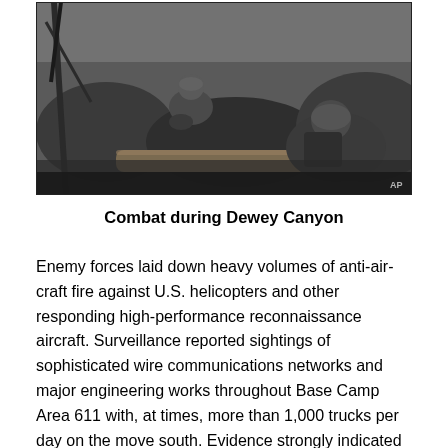[Figure (photo): Black and white photograph of soldiers in combat during the Vietnam War, crouching among rocky terrain and fallen logs. AP watermark visible in bottom right corner.]
Combat during Dewey Canyon
Enemy forces laid down heavy volumes of anti-air-craft fire against U.S. helicopters and other responding high-performance reconnaissance aircraft. Surveillance reported sightings of sophisticated wire communications networks and major engineering works throughout Base Camp Area 611 with, at times, more than 1,000 trucks per day on the move south. Evidence strongly indicated that major elements of the 6th  and 9th  NVA Regiments were